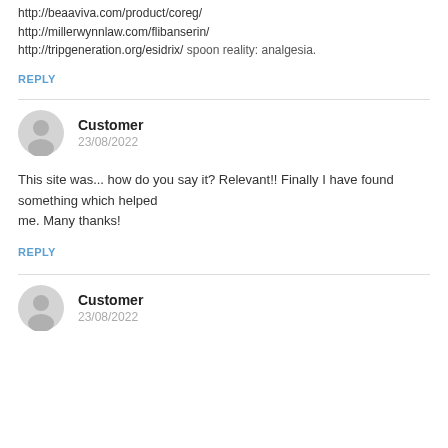http://beaaviva.com/product/coreg/ http://millerwynnlaw.com/flibanserin/ http://tripgeneration.org/esidrix/ spoon reality: analgesia.
REPLY
Customer
23/08/2022
This site was... how do you say it? Relevant!! Finally I have found something which helped me. Many thanks!
REPLY
Customer
23/08/2022